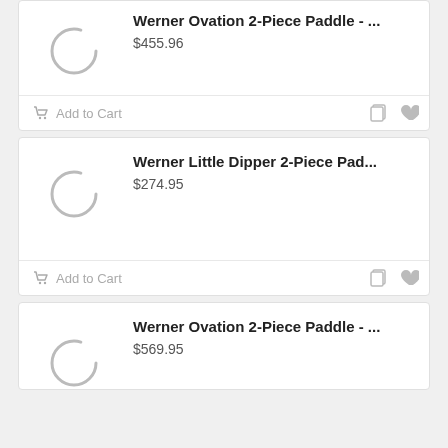Werner Ovation 2-Piece Paddle - ...
$455.96
Add to Cart
Werner Little Dipper 2-Piece Pad...
$274.95
Add to Cart
Werner Ovation 2-Piece Paddle - ...
$569.95